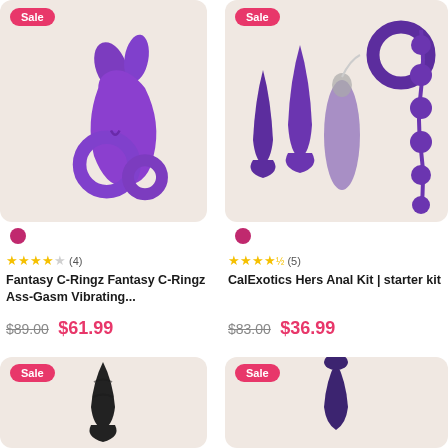[Figure (photo): Purple vibrating cock ring with rabbit ears stimulator on beige background, Sale badge]
[Figure (photo): Purple anal kit set with plugs, beads, and bullet vibrator on beige background, Sale badge]
● (color swatch purple)
● (color swatch purple)
★★★★☆ (4)
★★★★½ (5)
Fantasy C-Ringz Fantasy C-Ringz Ass-Gasm Vibrating...
CalExotics Hers Anal Kit | starter kit
$89.00 $61.99
$83.00 $36.99
[Figure (photo): Black anal plug on beige background, Sale badge]
[Figure (photo): Dark purple bullet vibrator on beige background, Sale badge]